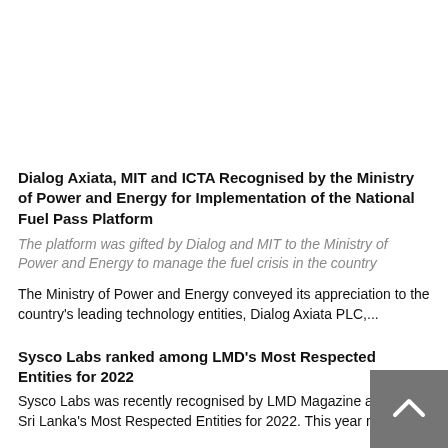Dialog Axiata, MIT and ICTA Recognised by the Ministry of Power and Energy for Implementation of the National Fuel Pass Platform
The platform was gifted by Dialog and MIT to the Ministry of Power and Energy to manage the fuel crisis in the country
The Ministry of Power and Energy conveyed its appreciation to the country's leading technology entities, Dialog Axiata PLC,...
Sysco Labs ranked among LMD's Most Respected Entities for 2022
Sysco Labs was recently recognised by LMD Magazine as one of Sri Lanka's Most Respected Entities for 2022. This year marks...